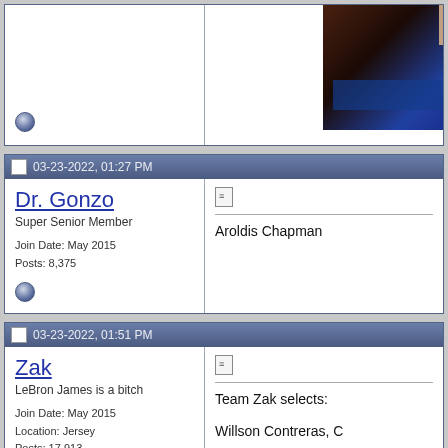[Figure (screenshot): Partial top post showing bottom of user panel with status icon, and right side showing a dark photo (person in blue clothing near wooden furniture)]
03-23-2022, 01:27 PM
Dr. Gonzo
Super Senior Member
Join Date: May 2015
Posts: 8,375
Aroldis Chapman
03-23-2022, 01:51 PM
Zak
LeBron James is a bitch
Join Date: May 2015
Location: Jersey
Posts: 17,913
Team Zak selects:

Willson Contreras, C